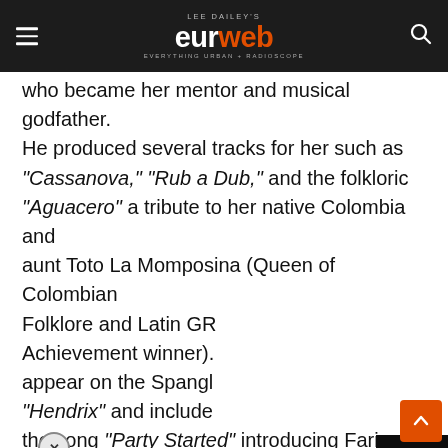LEE DAILEY'S eurweb EVERYTHING URBAN + RADIOSCOPE
who became her mentor and musical godfather. He produced several tracks for her such as "Cassanova," "Rub a Dub," and the folkloric "Aguacero" a tribute to her native Colombia and aunt Toto La Momposina (Queen of Colombian Folklore and Latin GRA... Achievement winner). appear on the Spangl... "Hendrix" and include... the song "Party Started" introducing Farina to new markets.
[Figure (screenshot): Video player error overlay with dark background showing message: 'The media could not be loaded, either because the server or network failed or because the format is not supported.' with a close (X) button in the top right corner.]
In 2017, she signed to Jay-Z's label Roc Nation